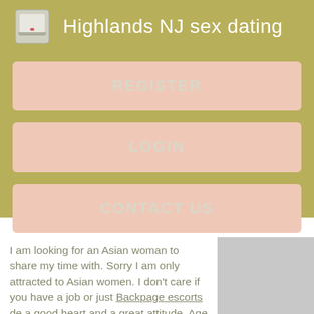Highlands NJ sex dating
REGISTER
LOGIN
CONTACT US
I am looking for an Asian woman to share my time with. Sorry I am only attracted to Asian women. I don't care if you have a job or just Backpage escorts de a good heart and a great attitude. Age is unimportant. Please Put January in the subject line to avoid spam.